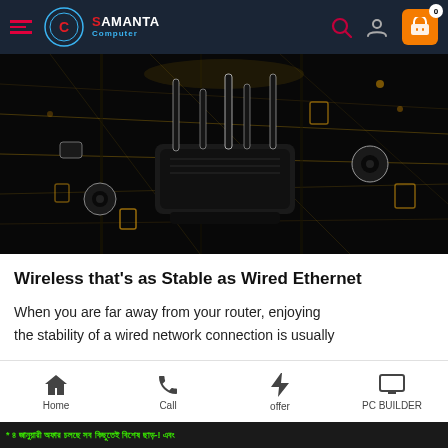Samanta Computer - Navigation Header
[Figure (photo): Dark dramatic product photo of a Wi-Fi router with glowing antenna tips and scattered IoT smart camera devices against a high-speed motion blur city background]
Wireless that's as Stable as Wired Ethernet
When you are far away from your router, enjoying the stability of a wired network connection is usually
Home | Call | offer | PC BUILDER
* ৪ জানুয়ারী অফার চলছে সব কিছুতেই বিশেষ ছাড়-! এবং